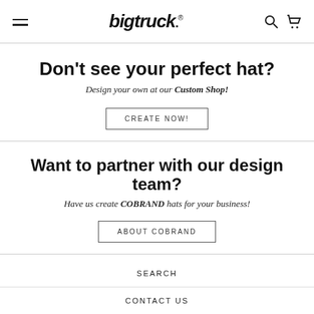bigtruck® [hamburger menu] [search icon] [cart icon]
Don't see your perfect hat?
Design your own at our Custom Shop!
CREATE NOW!
Want to partner with our design team?
Have us create COBRAND hats for your business!
ABOUT COBRAND
SEARCH
CONTACT US